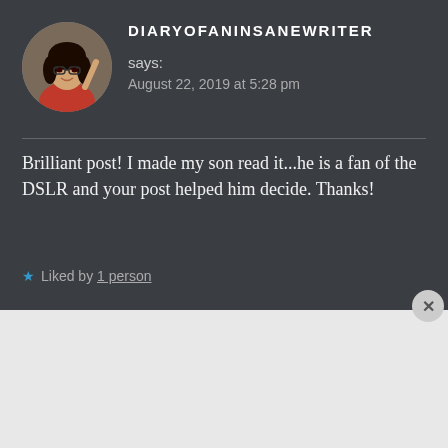[Figure (photo): Circular avatar of a woman wearing glasses and a red outfit, smiling and posing with one hand raised]
DIARYOFANINSANEWRITER says:
August 22, 2019 at 5:28 pm
Brilliant post! I made my son read it...he is a fan of the DSLR and your post helped him decide. Thanks!
★ Liked by 1 person
Advertisements
[Figure (screenshot): DuckDuckGo advertisement banner with orange background. Text reads: Search, browse, and email with more privacy. All in One Free App. Shows a phone mockup with DuckDuckGo logo.]